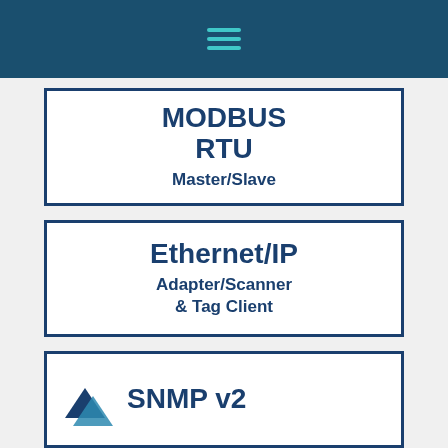hamburger menu icon
MODBUS RTU
Master/Slave
Ethernet/IP
Adapter/Scanner & Tag Client
SNMP v2